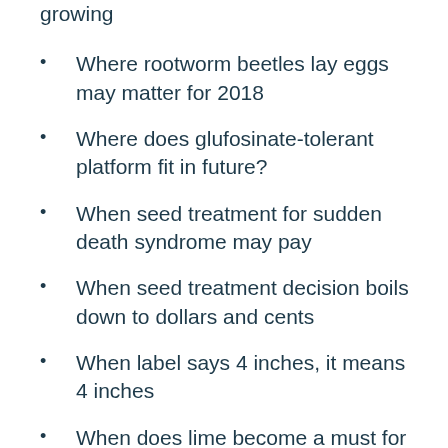growing
Where rootworm beetles lay eggs may matter for 2018
Where does glufosinate-tolerant platform fit in future?
When seed treatment for sudden death syndrome may pay
When seed treatment decision boils down to dollars and cents
When label says 4 inches, it means 4 inches
When does lime become a must for 2020 soybeans?
What you should know about fallow syndrome